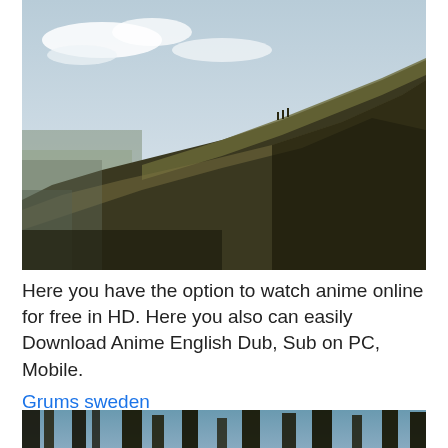[Figure (photo): Outdoor landscape photo showing a large rolling hill with dry grass under a pale blue sky with light clouds. The left side shows a distant flat valley. The hill slopes steeply from upper right to lower left with dark shadowed areas.]
Here you have the option to watch anime online for free in HD. Here you also can easily Download Anime English Dub, Sub on PC, Mobile.
Grums sweden
[Figure (photo): Bottom partial photo showing tall dark trees (forest) with blue sky visible between the trunks, viewed from below.]